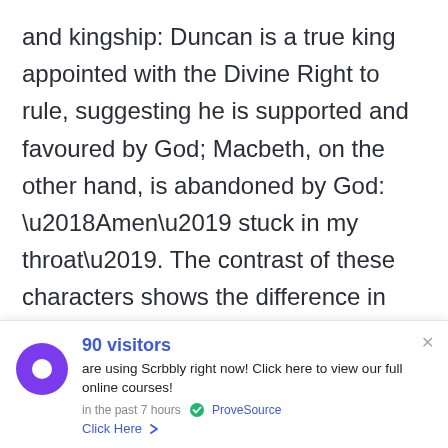and kingship: Duncan is a true king appointed with the Divine Right to rule, suggesting he is supported and favoured by God; Macbeth, on the other hand, is abandoned by God: ‘Amen’ stuck in my throat’. The contrast of these characters shows the difference in positive and negative leadership: a ruler should be well-liked and have his kingdom’s best interests at heart, rather than being selfishly obsessed with power.
90 visitors are using Scrbbly right now! Click here to view our full online courses! in the past 7 hours ✓ ProveSource Click Here >